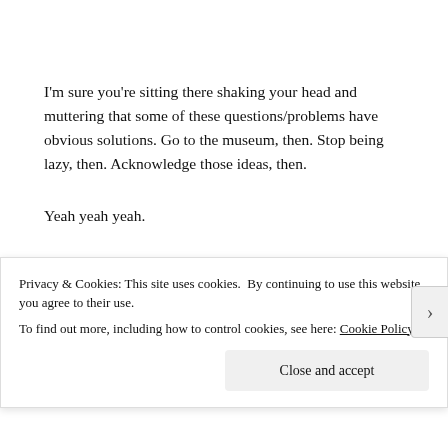I'm sure you're sitting there shaking your head and muttering that some of these questions/problems have obvious solutions. Go to the museum, then. Stop being lazy, then. Acknowledge those ideas, then.
Yeah yeah yeah.
I just wanted to write this post. Get it? I just need to keep writing. Even if it's not fiction. Maybe that will come. For now, just keep writing. Square Peg. Just keep writing.
Privacy & Cookies: This site uses cookies. By continuing to use this website, you agree to their use.
To find out more, including how to control cookies, see here: Cookie Policy